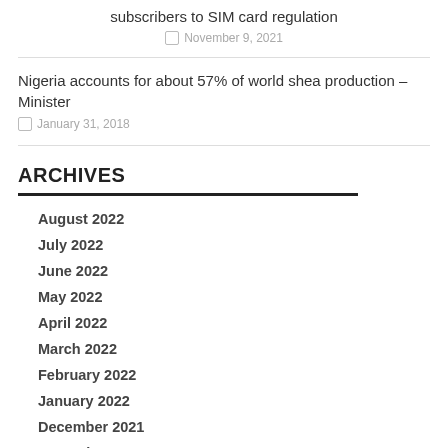subscribers to SIM card regulation
November 9, 2021
Nigeria accounts for about 57% of world shea production – Minister
January 31, 2018
ARCHIVES
August 2022
July 2022
June 2022
May 2022
April 2022
March 2022
February 2022
January 2022
December 2021
November 2021
October 2021
August 2021